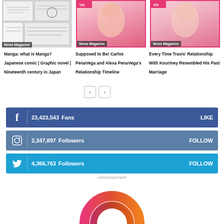[Figure (photo): Manga: black and white comic art collage with News Magazine badge]
Manga: what is Manga? Japanese comic | Graphic novel | Nineteenth century in Japan
[Figure (photo): US Magazine cover with female celebrity, News Magazine badge. Article: Supposed to Be! Carlos PenaVega and Alexa PenaVega’s Relationship Timeline]
Supposed to Be! Carlos PenaVega and Alexa PenaVega’s Relationship Timeline
[Figure (photo): US Magazine cover with female celebrity, News Magazine badge. Article: Every Time Travis' Relationship With Kourtney Resembled His Past Marriage]
Every Time Travis’ Relationship With Kourtney Resembled His Past Marriage
< >
f  23,423,543  Fans  LIKE
Instagram icon  2,347,897  Followers  FOLLOW
Twitter icon  4,366,763  Followers  FOLLOW
- Advertisement -
[Figure (logo): Colorful semicircular arc logo in pink-to-orange gradient]